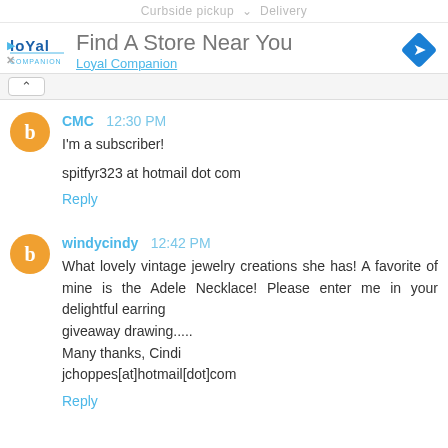Curbside pickup  Delivery
[Figure (screenshot): Loyal Companion ad banner with logo, 'Find A Store Near You' title, blue diamond navigation icon, and 'Loyal Companion' subtitle]
CMC 12:30 PM
I'm a subscriber!

spitfyr323 at hotmail dot com
Reply
windycindy 12:42 PM
What lovely vintage jewelry creations she has! A favorite of mine is the Adele Necklace! Please enter me in your delightful earring
giveaway drawing.....
Many thanks, Cindi
jchoppes[at]hotmail[dot]com
Reply